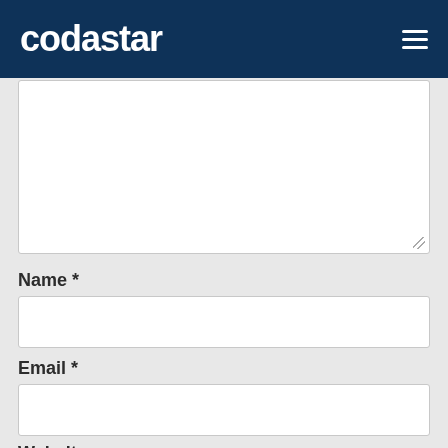codastar
[Figure (screenshot): Large empty textarea form field with white background and resize handle]
Name *
[Figure (screenshot): Empty text input field for Name]
Email *
[Figure (screenshot): Empty text input field for Email]
Website